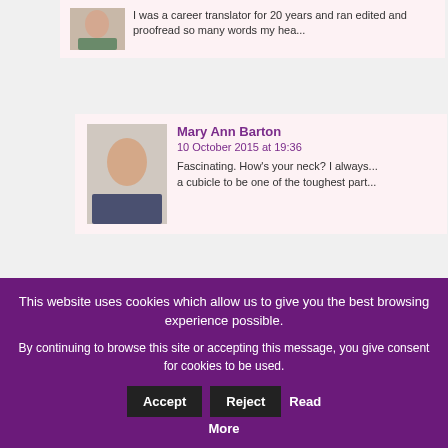I was a career translator for 20 years and ran edited and proofread so many words my hea...
Mary Ann Barton
10 October 2015 at 19:36
Fascinating. How's your neck? I always... a cubicle to be one of the toughest part...
Alison
10 October 2015 at 21:35
Neck is fine, thank you, but the ba...
Michele Citrin
10 October 2015 at 14:16
This website uses cookies which allow us to give you the best browsing experience possible.

By continuing to browse this site or accepting this message, you give consent for cookies to be used.
Accept
Reject
Read More